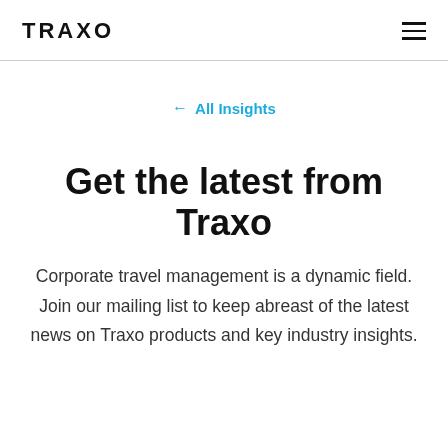TRAXO
← All Insights
Get the latest from Traxo
Corporate travel management is a dynamic field. Join our mailing list to keep abreast of the latest news on Traxo products and key industry insights.